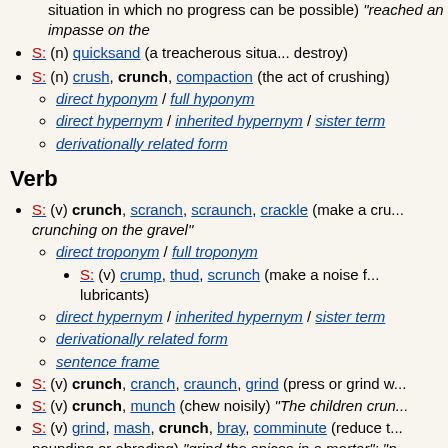possible) "reached an impasse on the..."
S: (n) quicksand (a treacherous situa... destroy)
S: (n) crush, crunch, compaction (the act of crushing)
direct hyponym / full hyponym
direct hypernym / inherited hypernym / sister term...
derivationally related form
Verb
S: (v) crunch, scranch, scraunch, crackle (make a cru... crunching on the gravel"
direct troponym / full troponym
S: (v) crump, thud, scrunch (make a noise f... lubricants)
direct hypernym / inherited hypernym / sister term...
derivationally related form
sentence frame
S: (v) crunch, cranch, craunch, grind (press or grind w...
S: (v) crunch, munch (chew noisily) "The children crun..."
S: (v) grind, mash, crunch, bray, comminute (reduce t... pounding or abrading) "grind the spices in a mortar"; "n..."